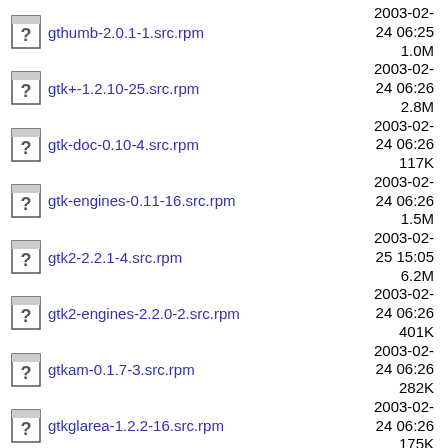gthumb-2.0.1-1.src.rpm  2003-02-24 06:25  1.0M
gtk+-1.2.10-25.src.rpm  2003-02-24 06:26  2.8M
gtk-doc-0.10-4.src.rpm  2003-02-24 06:26  117K
gtk-engines-0.11-16.src.rpm  2003-02-24 06:26  1.5M
gtk2-2.2.1-4.src.rpm  2003-02-25 15:05  6.2M
gtk2-engines-2.2.0-2.src.rpm  2003-02-24 06:26  401K
gtkam-0.1.7-3.src.rpm  2003-02-24 06:26  282K
gtkglarea-1.2.2-16.src.rpm  2003-02-24 06:26  175K
gtkhtml-1.1.8-5.src.rpm  2003-02-25 00:47  1.0M
gtkhtml2-2.2.0-5.src.rpm  2003-02-24 06:27  331K
gtoaster-1.0beta6-4.src.rpm  2003-02-24 06:27  1.0M
... 2003-07-